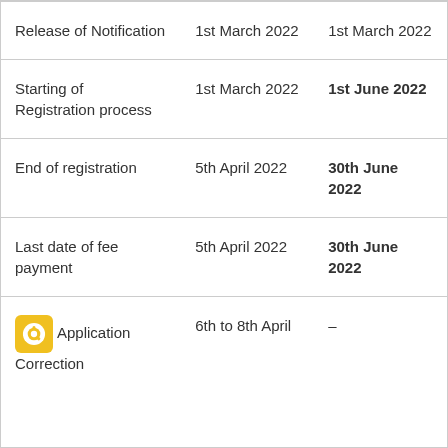| Release of Notification | 1st March 2022 | 1st March 2022 |
| Starting of Registration process | 1st March 2022 | 1st June 2022 |
| End of registration | 5th April 2022 | 30th June 2022 |
| Last date of fee payment | 5th April 2022 | 30th June 2022 |
| Application Correction | 6th to 8th April | – |